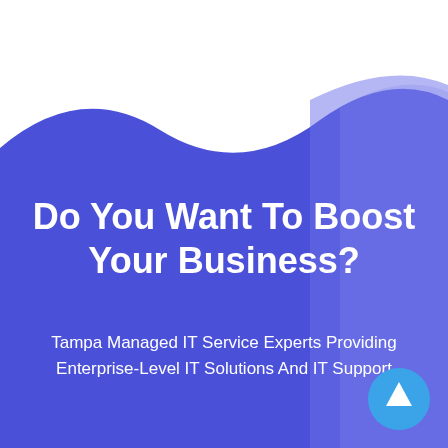[Figure (illustration): Blue gradient wave background with a fold/crease effect on the right side creating a lighter blue triangular panel. White background at the top transitioning to blue via a wave shape.]
Do You Want To Boost Your Business?
Tampa Managed IT Service Experts Providing Enterprise-Level IT Solutions And IT Support
[Figure (other): Light blue circular button with an upward arrow icon in the bottom-right corner]